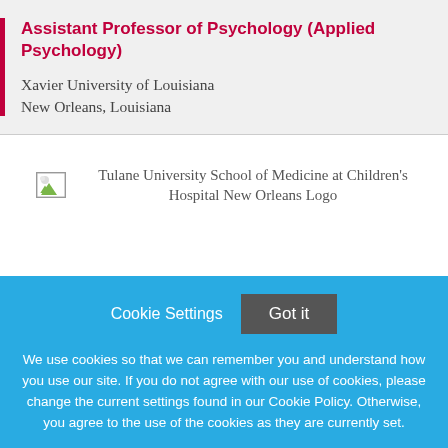Assistant Professor of Psychology (Applied Psychology)
Xavier University of Louisiana
New Orleans, Louisiana
[Figure (logo): Tulane University School of Medicine at Children's Hospital New Orleans Logo placeholder image]
Cookie Settings   Got it
We use cookies so that we can remember you and understand how you use our site. If you do not agree with our use of cookies, please change the current settings found in our Cookie Policy. Otherwise, you agree to the use of the cookies as they are currently set.